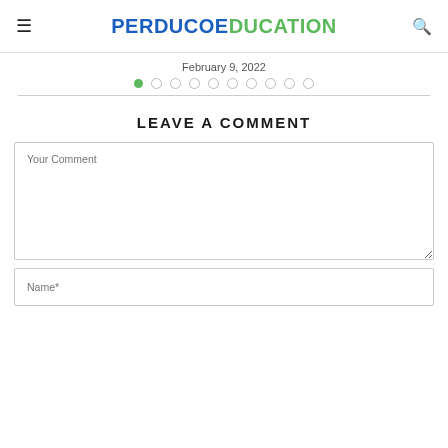PERDUCOEDUCATION
February 9, 2022
[Figure (other): Pagination dots: one filled green dot followed by nine empty circle dots]
LEAVE A COMMENT
Your Comment
Name*